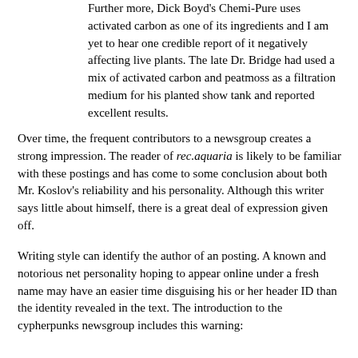Further more, Dick Boyd's Chemi-Pure uses activated carbon as one of its ingredients and I am yet to hear one credible report of it negatively affecting live plants. The late Dr. Bridge had used a mix of activated carbon and peatmoss as a filtration medium for his planted show tank and reported excellent results.
Over time, the frequent contributors to a newsgroup creates a strong impression. The reader of rec.aquaria is likely to be familiar with these postings and has come to some conclusion about both Mr. Koslov's reliability and his personality. Although this writer says little about himself, there is a great deal of expression given off.
Writing style can identify the author of an posting. A known and notorious net personality hoping to appear online under a fresh name may have an easier time disguising his or her header ID than the identity revealed in the text. The introduction to the cypherpunks newsgroup includes this warning:
The cypherpunks list has its very own net.loon, a fellow named L. Detweiler. The history is too long for here, but he thinks that cypherpunks are evil incarnate. If you see a densely worded rant